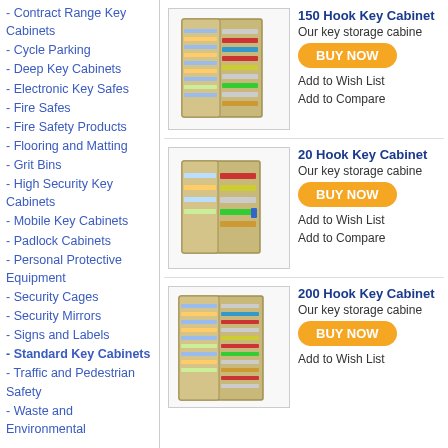- Contract Range Key Cabinets
- Cycle Parking
- Deep Key Cabinets
- Electronic Key Safes
- Fire Safes
- Fire Safety Products
- Flooring and Matting
- Grit Bins
- High Security Key Cabinets
- Mobile Key Cabinets
- Padlock Cabinets
- Personal Protective Equipment
- Security Cages
- Security Mirrors
- Signs and Labels
- Standard Key Cabinets
- Traffic and Pedestrian Safety
- Waste and Environmental
[Figure (photo): 150 Hook Key Cabinet open showing colored key hooks on multiple rows]
150 Hook Key Cabinet
Our key storage cabine
BUY NOW
Add to Wish List
Add to Compare
[Figure (photo): 20 Hook Key Cabinet open showing colored key hooks on multiple rows]
20 Hook Key Cabinet
Our key storage cabine
BUY NOW
Add to Wish List
Add to Compare
[Figure (photo): 200 Hook Key Cabinet open showing colored key hooks on multiple rows]
200 Hook Key Cabinet
Our key storage cabine
BUY NOW
Add to Wish List